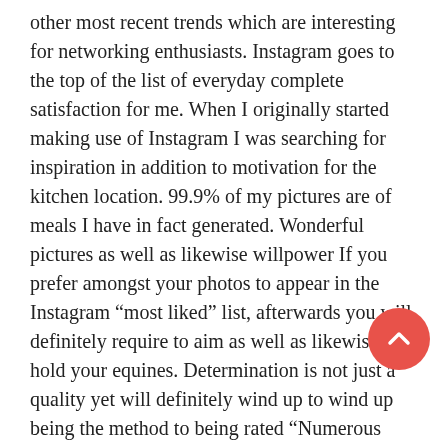other most recent trends which are interesting for networking enthusiasts. Instagram goes to the top of the list of everyday complete satisfaction for me. When I originally started making use of Instagram I was searching for inspiration in addition to motivation for the kitchen location. 99.9% of my pictures are of meals I have in fact generated. Wonderful pictures as well as likewise willpower If you prefer amongst your photos to appear in the Instagram “most liked” list, afterwards you will definitely require to aim as well as likewise hold your equines. Determination is not just a quality yet will definitely wind up to wind up being the method to being rated “Numerous Popular”. Along the technique instagram handled a numerous obligation in my everyday life. If you get on Instagram afterwards I presume you can accept these images because the make you laugh when you are scrolling with the pictures on your apple iphone or iPad. Why do the Instagram photos make me laugh? Do not fall short to keep in mind, Instagram is a global application so
[Figure (other): Red circular scroll-to-top button with upward chevron arrow, positioned in the lower right area of the page]